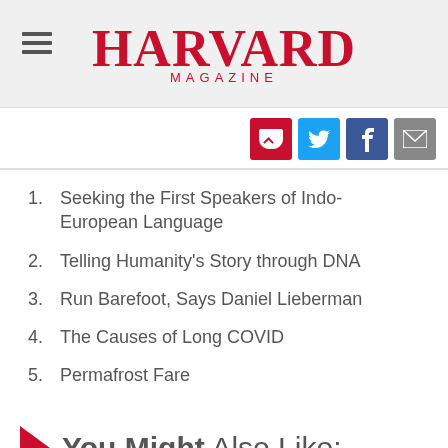HARVARD MAGAZINE
[Figure (logo): Harvard Magazine logo with hamburger menu icon on the left]
1. Seeking the First Speakers of Indo-European Language
2. Telling Humanity's Story through DNA
3. Run Barefoot, Says Daniel Lieberman
4. The Causes of Long COVID
5. Permafrost Fare
You Might Also Like: